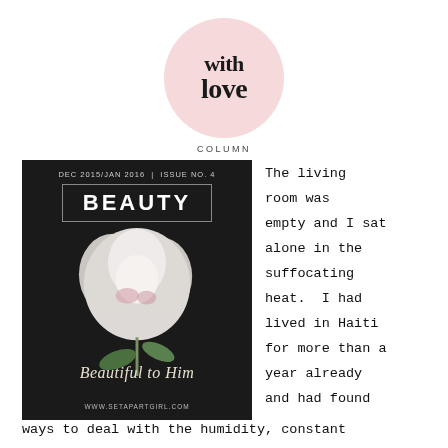[Figure (logo): With Love Column logo — circular pink background with serif text 'with love' and 'COLUMN' below]
[Figure (photo): Magazine cover: DEC 2015/JAN 2016 ISSUE NO.4, BEAUTY title, white peony flower on dark background, script text 'Beautiful to Him', www.setapartgirl.com]
The living room was empty and I sat alone in the suffocating heat. I had lived in Haiti for more than a year already and had found ways to deal with the humidity, constant